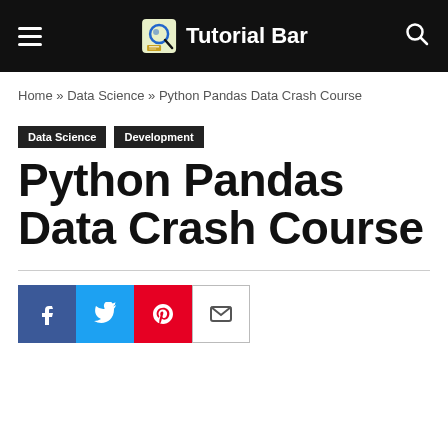Tutorial Bar
Home » Data Science » Python Pandas Data Crash Course
Data Science   Development
Python Pandas Data Crash Course
[Figure (infographic): Social share buttons: Facebook, Twitter, Pinterest, Email]